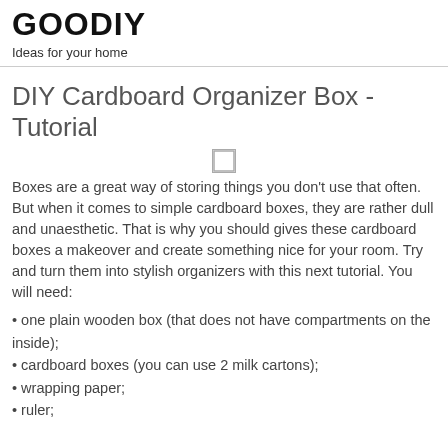GOODIY
Ideas for your home
DIY Cardboard Organizer Box - Tutorial
Boxes are a great way of storing things you don't use that often. But when it comes to simple cardboard boxes, they are rather dull and unaesthetic. That is why you should gives these cardboard boxes a makeover and create something nice for your room. Try and turn them into stylish organizers with this next tutorial. You will need:
• one plain wooden box (that does not have compartments on the inside);
• cardboard boxes (you can use 2 milk cartons);
• wrapping paper;
• ruler;